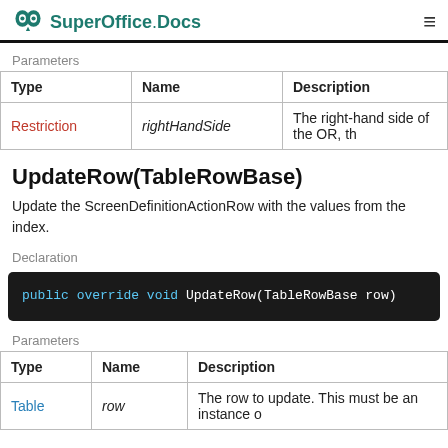SuperOffice.Docs
Parameters
| Type | Name | Description |
| --- | --- | --- |
| Restriction | rightHandSide | The right-hand side of the OR, th |
UpdateRow(TableRowBase)
Update the ScreenDefinitionActionRow with the values from the index.
Declaration
public override void UpdateRow(TableRowBase row)
Parameters
| Type | Name | Description |
| --- | --- | --- |
| Table | row | The row to update. This must be an instance o |